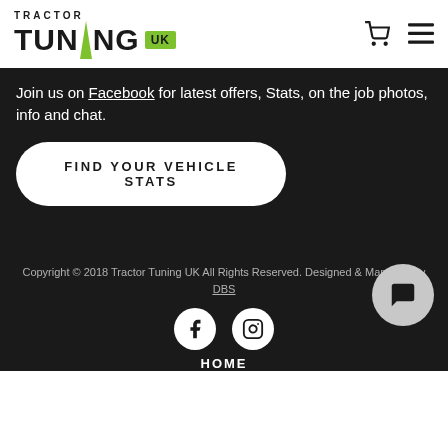[Figure (logo): Tractor Tuning UK logo with green arrow and green UK badge]
Join us on Facebook for latest offers, Stats, on the job photos, info and chat.
FIND YOUR VEHICLE STATS
Copyright © 2018 Tractor Tuning UK All Rights Reserved. Designed & Managed by DBS
[Figure (illustration): Facebook and Instagram social media icons in white circles on dark background]
HOME